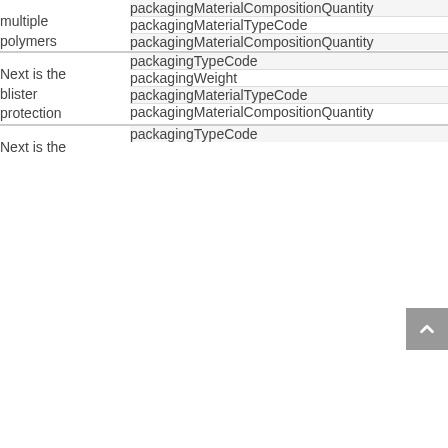| Description | Field |
| --- | --- |
| multiple polymers | packagingMaterialCompositionQuantity |
|  | packagingMaterialTypeCode |
|  | packagingMaterialCompositionQuantity |
| Next is the blister protection | packagingTypeCode |
|  | packagingWeight |
|  | packagingMaterialTypeCode |
|  | packagingMaterialCompositionQuantity |
| Next is the | packagingTypeCode |